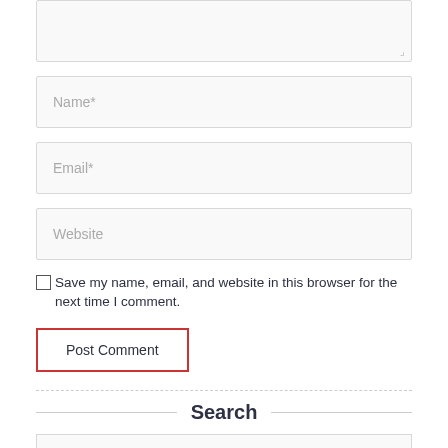[Figure (screenshot): Textarea input field (comment box), partially visible at top, with resize handle in bottom-right corner]
Name*
Email*
Website
Save my name, email, and website in this browser for the next time I comment.
Post Comment
Search
Search